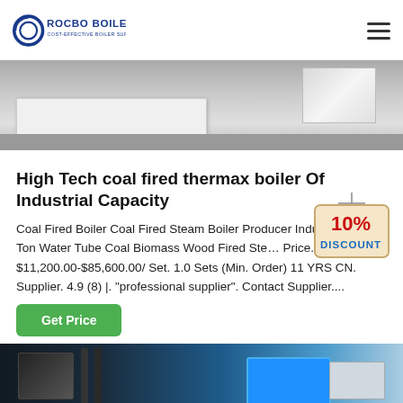ROCBO BOILER — COST-EFFECTIVE BOILER SUPPLIER
[Figure (photo): Top portion of a white industrial boiler unit on a gray floor]
High Tech coal fired thermax boiler Of Industrial Capacity
Coal Fired Boiler Coal Fired Steam Boiler Producer Indu… Ton-20 Ton Water Tube Coal Biomass Wood Fired Ste… Price. $11,200.00-$85,600.00/ Set. 1.0 Sets (Min. Order) 11 YRS CN. Supplier. 4.9 (8) |. "professional supplier". Contact Supplier....
[Figure (illustration): 10% DISCOUNT badge/sticker hanging from a string]
[Figure (photo): Industrial boiler machinery and piping in a facility]
Get Price